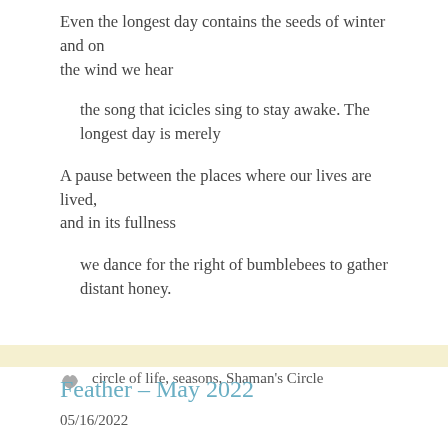Even the longest day contains the seeds of winter and on the wind we hear
the song that icicles sing to stay awake. The longest day is merely
A pause between the places where our lives are lived, and in its fullness
we dance for the right of bumblebees to gather distant honey.
Poems
circle of life, seasons, Shaman's Circle
Feather – May 2022
05/16/2022